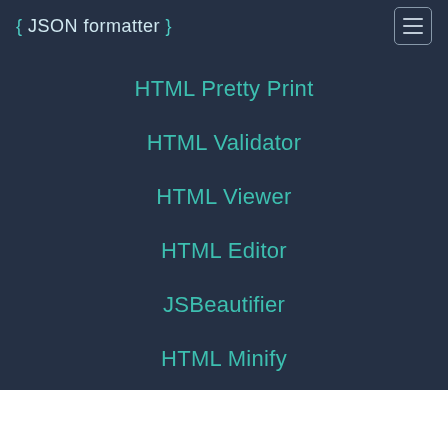{ JSON formatter }
HTML Pretty Print
HTML Validator
HTML Viewer
HTML Editor
JSBeautifier
HTML Minify
JADE to HTML